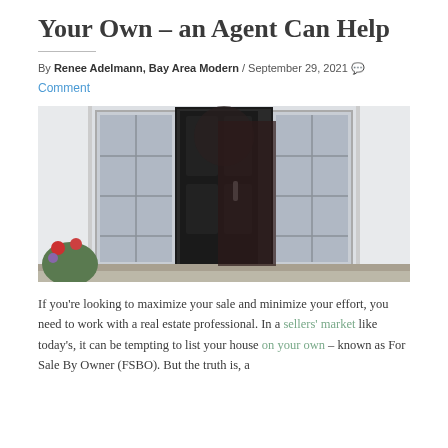Your Own – an Agent Can Help
By Renee Adelmann, Bay Area Modern / September 29, 2021 💬
Comment
[Figure (photo): Photo of a white house entrance with an open dark front door flanked by white sidelights, with a red flowering plant at lower left.]
If you're looking to maximize your sale and minimize your effort, you need to work with a real estate professional. In a sellers' market like today's, it can be tempting to list your house on your own – known as For Sale By Owner (FSBO). But the truth is, a